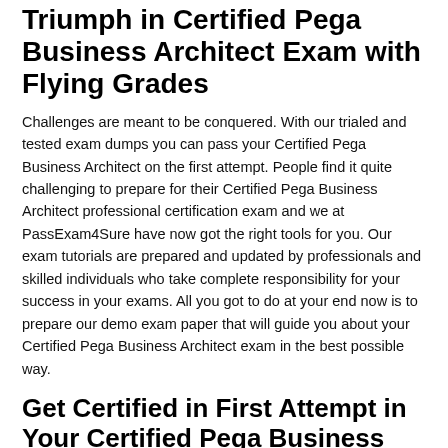Triumph in Certified Pega Business Architect Exam with Flying Grades
Challenges are meant to be conquered. With our trialed and tested exam dumps you can pass your Certified Pega Business Architect on the first attempt. People find it quite challenging to prepare for their Certified Pega Business Architect professional certification exam and we at PassExam4Sure have now got the right tools for you. Our exam tutorials are prepared and updated by professionals and skilled individuals who take complete responsibility for your success in your exams. All you got to do at your end now is to prepare our demo exam paper that will guide you about your Certified Pega Business Architect exam in the best possible way.
Get Certified in First Attempt in Your Certified Pega Business Architect Professional Certification Exam
PassExam4Sure guarantees 100% success in your certification exam. Your hard-earned money is secure with us because we offer